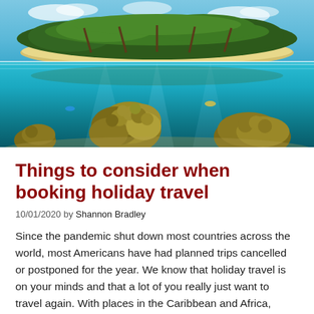[Figure (photo): Split underwater/above-water photo showing a tropical island with palm trees above the waterline and coral reef below the turquoise water surface]
Things to consider when booking holiday travel
10/01/2020 by Shannon Bradley
Since the pandemic shut down most countries across the world, most Americans have had planned trips cancelled or postponed for the year.  We know that holiday travel is on your minds and that a lot of you really just want to travel again.  With places in the Caribbean and Africa, opening up to Americans, the